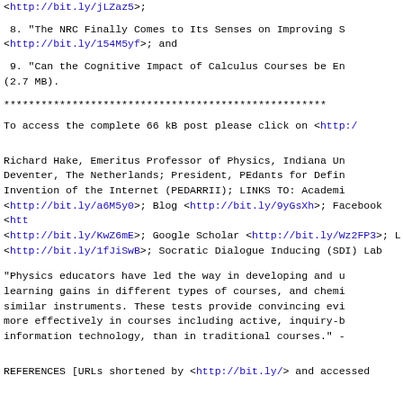<http://bit.ly/jLZaz5>;
8. "The NRC Finally Comes to Its Senses on Improving S... <http://bit.ly/154M5yf>; and
9. "Can the Cognitive Impact of Calculus Courses be En... (2.7 MB).
****************************************************
To access the complete 66 kB post please click on <http://...
Richard Hake, Emeritus Professor of Physics, Indiana Un... Deventer, The Netherlands; President, PEdants for Defin... Invention of the Internet (PEDARRII); LINKS TO: Academi... <http://bit.ly/a6M5y0>; Blog <http://bit.ly/9yGsXh>; Facebook <htt... <http://bit.ly/KwZ6mE>; Google Scholar <http://bit.ly/Wz2FP3>; L... <http://bit.ly/1fJiSwB>; Socratic Dialogue Inducing (SDI) Lab...
"Physics educators have led the way in developing and u... learning gains in different types of courses, and chemi... similar instruments. These tests provide convincing evi... more effectively in courses including active, inquiry-b... information technology, than in traditional courses." -
REFERENCES [URLs shortened by <http://bit.ly/> and accessed...